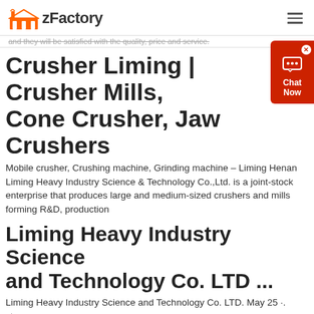zFactory
and they will be satisfied with the quality, price and service.
Crusher Liming | Crusher Mills, Cone Crusher, Jaw Crushers
Mobile crusher, Crushing machine, Grinding machine – Liming Henan Liming Heavy Industry Science & Technology Co.,Ltd. is a joint-stock enterprise that produces large and medium-sized crushers and mills forming R&D, production
Liming Heavy Industry Science and Technology Co. LTD ...
Liming Heavy Industry Science and Technology Co. LTD. May 25 ·. stone crusher, sand aggregate making machine, for mining and construction, etc. contact me or leave your email and number to get details. wechat/whatsapp: +86 158 4596 6966.
Liming concasseur de pierre